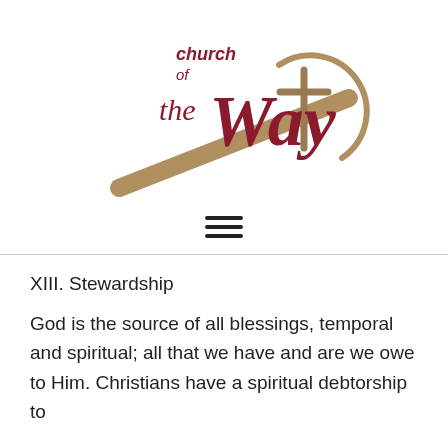[Figure (logo): Church of the Way logo: cursive maroon script reading 'church of the Way' with a stylized cross and diagonal staff/rod in tan/gold color]
XIII. Stewardship
God is the source of all blessings, temporal and spiritual; all that we have and are we owe to Him. Christians have a spiritual debtorship to